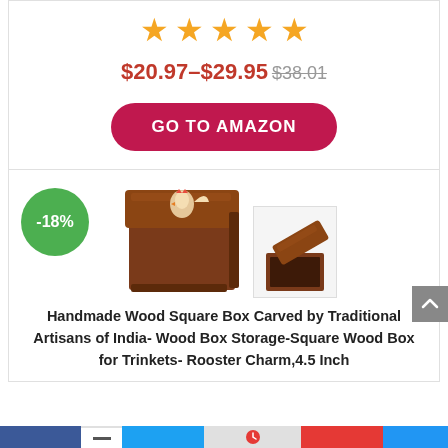[Figure (other): Five gold/orange star rating icons]
$20.97–$29.95 $38.01
GO TO AMAZON
[Figure (photo): Handmade wooden square box with rooster charm inlay, shown from two angles. A discount badge of -18% is overlaid.]
Handmade Wood Square Box Carved by Traditional Artisans of India- Wood Box Storage-Square Wood Box for Trinkets- Rooster Charm,4.5 Inch